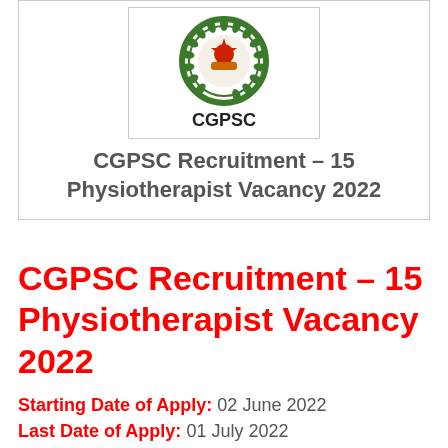[Figure (logo): CGPSC government emblem/seal logo with text CGPSC below it, shown inside a bordered box]
CGPSC Recruitment – 15 Physiotherapist Vacancy 2022
CGPSC Recruitment – 15 Physiotherapist Vacancy 2022
Starting Date of Apply: 02 June 2022
Last Date of Apply: 01 July 2022
JOB DETAILS :-